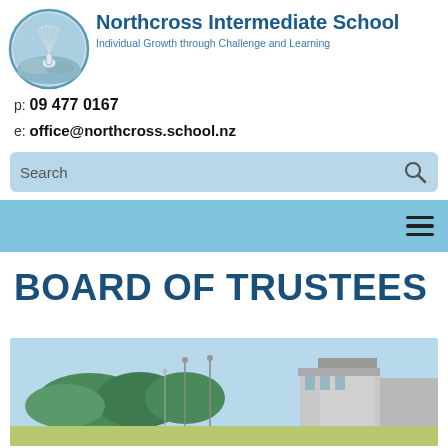[Figure (logo): Northcross Intermediate School circular logo with stylized badminton shuttlecock and blue/gray color scheme]
Northcross Intermediate School
Individual Growth through Challenge and Learning
p: 09 477 0167
e: office@northcross.school.nz
Search
BOARD OF TRUSTEES
[Figure (photo): Aerial/ground-level photo of Northcross Intermediate School buildings and grounds with trees and sports facilities visible]